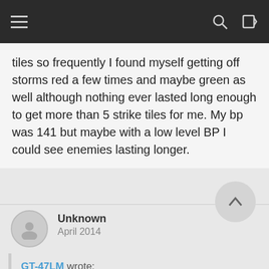Navigation bar with hamburger menu, search, and login icons
tiles so frequently I found myself getting off storms red a few times and maybe green as well although nothing ever lasted long enough to get more than 5 strike tiles for me. My bp was 141 but maybe with a low level BP I could see enemies lasting longer.
Unknown
April 2014
GT-47LM wrote: After using storms red in the venom heroic tournament, I had no where near as much environment tiles people claimed to have every single time they used it. Putting down 6+ strike tiles? That'll cost 90+ environment AP which would require multiple uses of